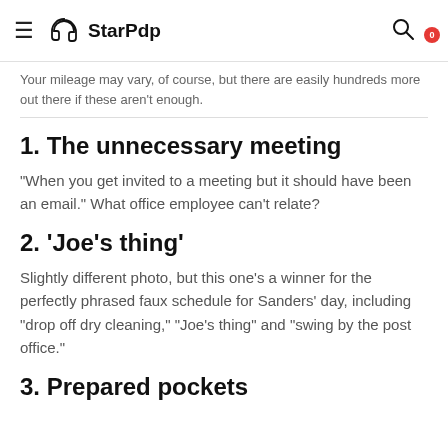StarPdp
Your mileage may vary, of course, but there are easily hundreds more out there if these aren't enough.
1. The unnecessary meeting
“When you get invited to a meeting but it should have been an email.” What office employee can’t relate?
2. ‘Joe’s thing’
Slightly different photo, but this one’s a winner for the perfectly phrased faux schedule for Sanders’ day, including “drop off dry cleaning,” “Joe’s thing” and “swing by the post office.”
3. Prepared pockets